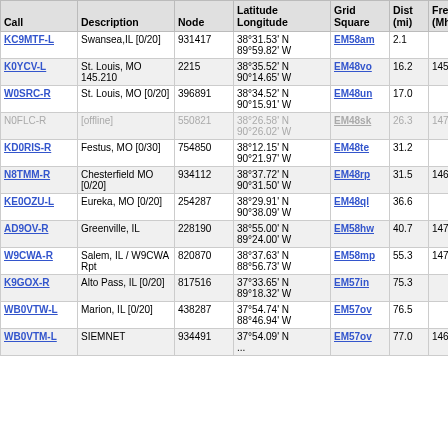| Call | Description | Node | Latitude Longitude | Grid Square | Dist (mi) | Freq (Mhz) |
| --- | --- | --- | --- | --- | --- | --- |
| KC9MTF-L | Swansea,IL [0/20] | 931417 | 38°31.53' N 89°59.82' W | EM58am | 2.1 |  |
| K0YCV-L | St. Louis, MO 145.210 | 2215 | 38°35.52' N 90°14.65' W | EM48vo | 16.2 | 145.210 |
| W0SRC-R | St. Louis, MO [0/20] | 396891 | 38°34.52' N 90°15.91' W | EM48un | 17.0 |  |
| N0FLC-R | [offline] | 550821 | 38°26.58' N 90°26.02' W | EM48sk | 26.3 | 147.225 |
| KD0RIS-R | Festus, MO [0/30] | 754850 | 38°12.15' N 90°21.97' W | EM48te | 31.2 |  |
| N8TMM-R | Chesterfield MO [0/20] | 934112 | 38°37.72' N 90°31.50' W | EM48rp | 31.5 | 146.625 |
| KE0OZU-L | Eureka, MO [0/20] | 254287 | 38°29.91' N 90°38.09' W | EM48ql | 36.6 |  |
| AD9OV-R | Greenville, IL | 228190 | 38°55.00' N 89°24.00' W | EM58hw | 40.7 | 147.165 |
| W9CWA-R | Salem, IL / W9CWA Rpt | 820870 | 38°37.63' N 88°56.73' W | EM58mp | 55.3 | 147.270 |
| K9GOX-R | Alto Pass, IL [0/20] | 817516 | 37°33.65' N 89°18.32' W | EM57in | 75.3 |  |
| WB0VTW-L | Marion, IL [0/20] | 438287 | 37°54.74' N 88°46.94' W | EM57ov | 76.5 |  |
| WB0VTM-L | SIEMNET | 934491 | 37°54.09' N ... | EM57ov | 77.0 | 146.820 |